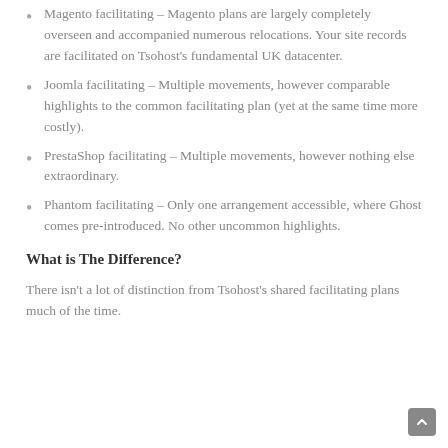Magento facilitating – Magento plans are largely completely overseen and accompanied numerous relocations. Your site records are facilitated on Tsohost's fundamental UK datacenter.
Joomla facilitating – Multiple movements, however comparable highlights to the common facilitating plan (yet at the same time more costly).
PrestaShop facilitating – Multiple movements, however nothing else extraordinary.
Phantom facilitating – Only one arrangement accessible, where Ghost comes pre-introduced. No other uncommon highlights.
What is The Difference?
There isn't a lot of distinction from Tsohost's shared facilitating plans much of the time.